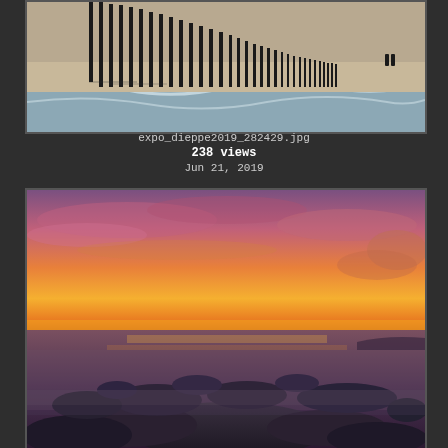[Figure (photo): Black and white beach scene with tall vertical poles/stakes arranged in a diagonal pattern on sand, ocean waves in the foreground, two people walking in the distant right]
expo_dieppe2019_282429.jpg
238 views
Jun 21, 2019
[Figure (photo): Dramatic sunset seascape with vibrant orange and pink sky, rocky coastline with dark boulders in the foreground, calm long-exposure sea water, distant headland on the right]